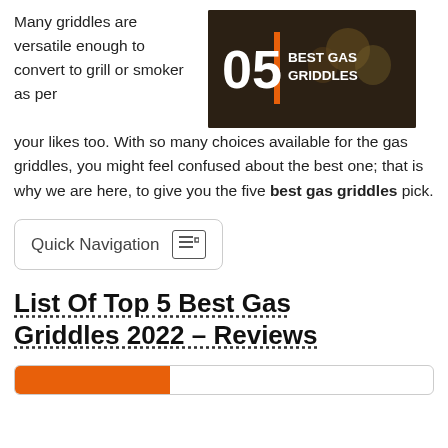Many griddles are versatile enough to convert to grill or smoker as per
[Figure (illustration): Promotional image with people outdoors at a cookout, overlaid with text '05 BEST GAS GRIDDLES' in white and orange on a dark background]
your likes too. With so many choices available for the gas griddles, you might feel confused about the best one; that is why we are here, to give you the five best gas griddles pick.
Quick Navigation
List Of Top 5 Best Gas Griddles 2022 – Reviews
[Figure (other): Bottom partial bar with orange accent on left side, partially visible at bottom of page]